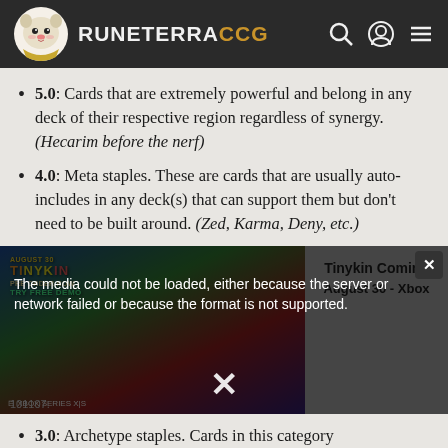RUNETERRACCG
5.0: Cards that are extremely powerful and belong in any deck of their respective region regardless of synergy. (Hecarim before the nerf)
4.0: Meta staples. These are cards that are usually auto-includes in any deck(s) that can support them but don't need to be built around. (Zed, Karma, Deny, etc.)
[Figure (screenshot): Video ad for a game (Tinykin Coming August 30 - Xbox) with a media error overlay message: 'The media could not be loaded, either because the server or network failed or because the format is not supported.' with a large X close button and a small X dismiss button.]
3.0: Archetype staples. Cards in this category